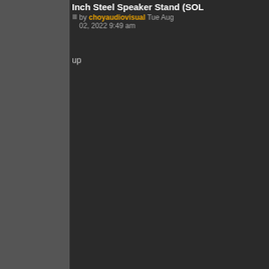Inch Steel Speaker Stand (SOL...
by choyaudiovisual Tue Aug 02, 2022 9:49 am
up
LIKE
DISLIKE
Re: Cav Acoustic STM-A 36 36 Inch Steel Speaker Stand (SOL...
by Sponsored content